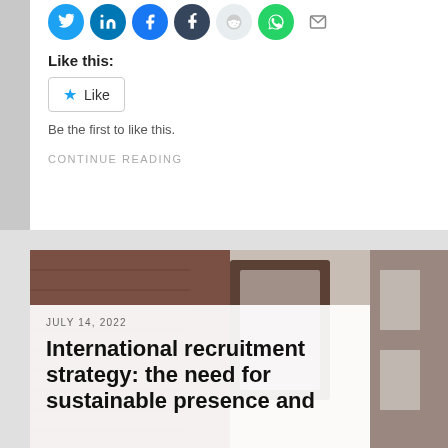[Figure (other): Social share icons row: Twitter (blue), LinkedIn (blue), Facebook (blue), Tumblr (dark), Reddit (light), WhatsApp (green), Mail (grey)]
Like this:
Like
Be the first to like this.
CONTINUE READING
[Figure (photo): Background photo of a brick building exterior with blurred foreground]
JULY 14, 2022
International recruitment strategy: the need for sustainable presence and